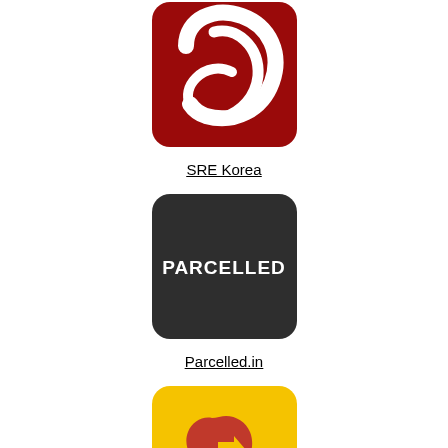[Figure (logo): SRE Korea logo - red rounded square with white swoosh/ring graphic]
SRE Korea
[Figure (logo): Parcelled logo - dark charcoal rounded square with white bold text PARCELLED]
Parcelled.in
[Figure (logo): Couriers Please logo - yellow rounded square with red Australia map shape containing yellow arrow]
Couriers Please
[Figure (logo): Blue rounded square logo partially visible at bottom]